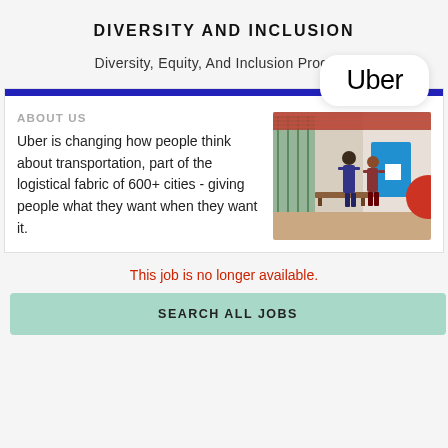DIVERSITY AND INCLUSION
Diversity, Equity, And Inclusion Program
[Figure (logo): Uber logo in a white rounded rectangle bubble]
ABOUT US
Uber is changing how people think about transportation, part of the logistical fabric of 600+ cities - giving people what they want when they want it.
[Figure (photo): Two people walking through a modern Uber office with colorful wall art]
This job is no longer available.
SEARCH ALL JOBS